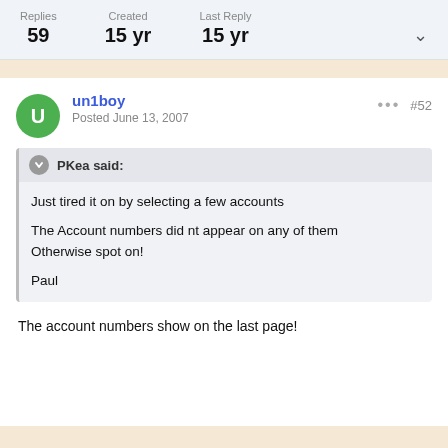Replies 59   Created 15 yr   Last Reply 15 yr
un1boy
Posted June 13, 2007
PKea said:
Just tired it on by selecting a few accounts

The Account numbers did nt appear on any of them
Otherwise spot on!

Paul
The account numbers show on the last page!